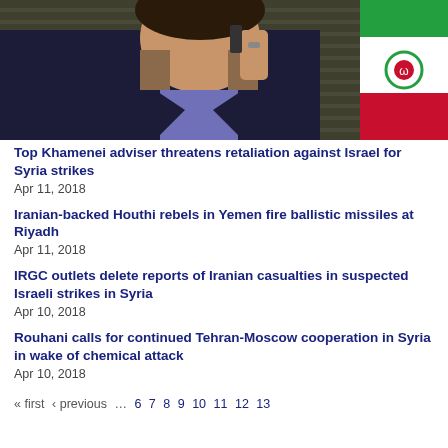[Figure (photo): Man in dark suit with beard, holding phone to ear, Iranian flag visible in background, blinds behind]
Top Khamenei adviser threatens retaliation against Israel for Syria strikes
Apr 11, 2018
Iranian-backed Houthi rebels in Yemen fire ballistic missiles at Riyadh
Apr 11, 2018
IRGC outlets delete reports of Iranian casualties in suspected Israeli strikes in Syria
Apr 10, 2018
Rouhani calls for continued Tehran-Moscow cooperation in Syria in wake of chemical attack
Apr 10, 2018
« first  ‹ previous  …  6  7  8  9  10  11  12  13